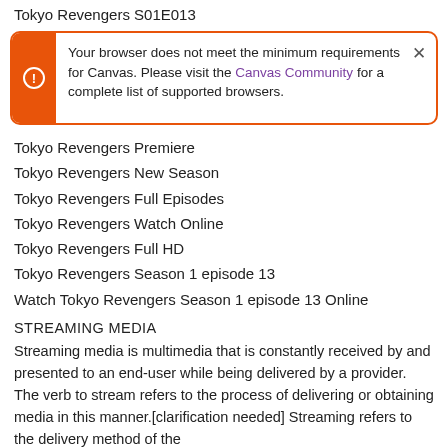Tokyo Revengers S01E013
Your browser does not meet the minimum requirements for Canvas. Please visit the Canvas Community for a complete list of supported browsers.
Tokyo Revengers Premiere
Tokyo Revengers New Season
Tokyo Revengers Full Episodes
Tokyo Revengers Watch Online
Tokyo Revengers Full HD
Tokyo Revengers Season 1 episode 13
Watch Tokyo Revengers Season 1 episode 13 Online
STREAMING MEDIA
Streaming media is multimedia that is constantly received by and presented to an end-user while being delivered by a provider. The verb to stream refers to the process of delivering or obtaining media in this manner.[clarification needed] Streaming refers to the delivery method of the